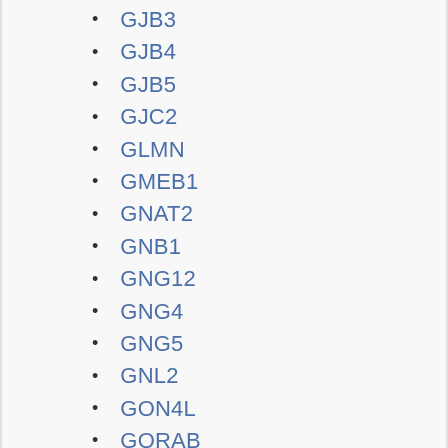GJB3
GJB4
GJB5
GJC2
GLMN
GMEB1
GNAT2
GNB1
GNG12
GNG4
GNG5
GNL2
GON4L
GORAB
GP...